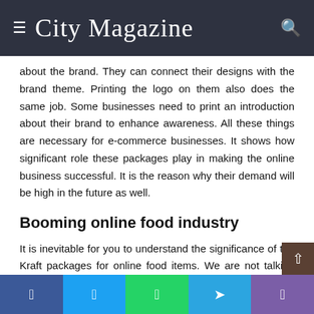City Magazine
about the brand. They can connect their designs with the brand theme. Printing the logo on them also does the same job. Some businesses need to print an introduction about their brand to enhance awareness. All these things are necessary for e-commerce businesses. It shows how significant role these packages play in making the online business successful. It is the reason why their demand will be high in the future as well.
Booming online food industry
It is inevitable for you to understand the significance of the Kraft packages for online food items. We are not talking about the Kraft bags Melbourne. Online food brands are boo…